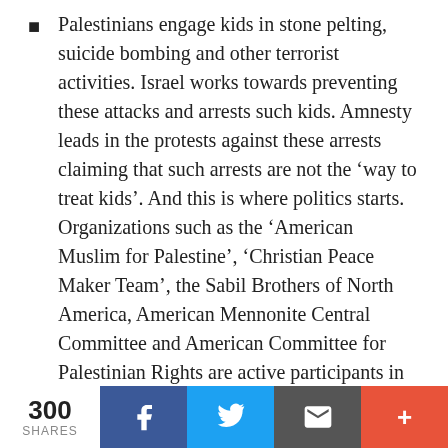Palestinians engage kids in stone pelting, suicide bombing and other terrorist activities. Israel works towards preventing these attacks and arrests such kids. Amnesty leads in the protests against these arrests claiming that such arrests are not the ‘way to treat kids’. And this is where politics starts. Organizations such as the ‘American Muslim for Palestine’, ‘Christian Peace Maker Team’, the Sabil Brothers of North America, American Mennonite Central Committee and American Committee for Palestinian Rights are active participants in these protests. It is well
300 SHARES | Facebook | Twitter | Email | +